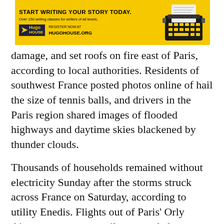[Figure (other): Advertisement banner for Hugo House: 'START WRITING YOUR STORY TODAY. Over 150 writing classes for writers of all levels. Hugo House logo. REGISTER NOW AT HUGOHOUSE.ORG'. Yellow background with a black typewriter graphic on the right.]
damage, and set roofs on fire east of Paris, according to local authorities. Residents of southwest France posted photos online of hail the size of tennis balls, and drivers in the Paris region shared images of flooded highways and daytime skies blackened by thunder clouds.
Thousands of households remained without electricity Sunday after the storms struck across France on Saturday, according to utility Enedis. Flights out of Paris' Orly Airport were temporarily suspended Saturday, and there were delays at Charles de Gaulle Airport.
A woman swept away by flooding was found dead under a car in the historic Normandy city of Rouen,